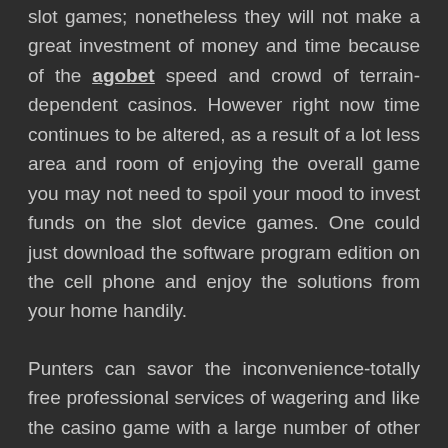slot games; nonetheless they will not make a great investment of money and time because of the agobet speed and crowd of terrain-dependent casinos. However right now time continues to be altered, as a result of a lot less area and room of enjoying the overall game you may not need to spoil your mood to invest funds on the slot device games. One could just download the software program edition on the cell phone and enjoy the solutions from your home handily.
Punters can savor the inconvenience-totally free professional services of wagering and like the casino game with a large number of other athletes. For this reason the world wide web version of on the internet port unit online games is presently preferred among folks.